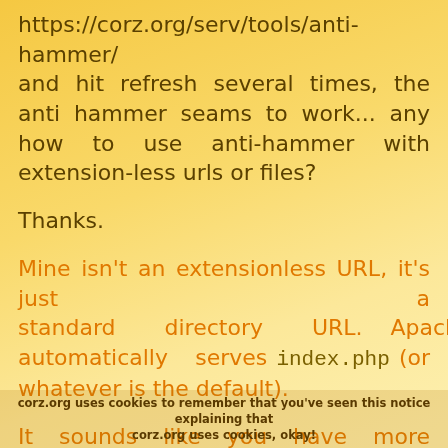https://corz.org/serv/tools/anti-hammer/ and hit refresh several times, the anti hammer seams to work... any how to use anti-hammer with extension-less urls or files?
Thanks.
Mine isn't an extensionless URL, it's just a standard directory URL. Apache automatically serves index.php (or whatever is the default).
It sounds like you have more .htaccess files inside /blog/ overriding your main
corz.org uses cookies to remember that you've seen this notice explaining that corz.org uses cookies, okay!